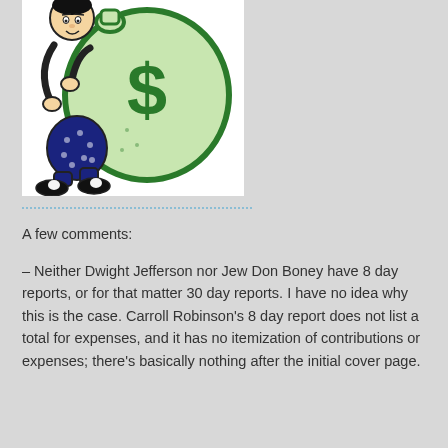[Figure (illustration): Cartoon illustration of a person carrying a large green money bag with a dollar sign on it, wearing a dark blue polka-dot outfit and black shoes.]
A few comments:
– Neither Dwight Jefferson nor Jew Don Boney have 8 day reports, or for that matter 30 day reports. I have no idea why this is the case. Carroll Robinson's 8 day report does not list a total for expenses, and it has no itemization of contributions or expenses; there's basically nothing after the initial cover page.